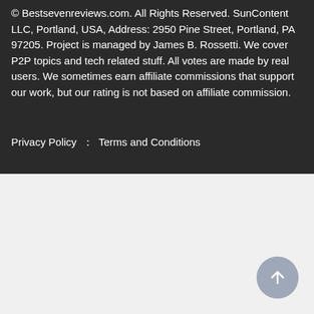© Bestsevenreviews.com. All Rights Reserved. SunContent LLC, Portland, USA, Address: 2950 Pine Street, Portland, PA 97205. Project is managed by James B. Rossetti. We cover P2P topics and tech related stuff. All votes are made by real users. We sometimes earn affiliate commissions that support our work, but our rating is not based on affiliate commission.
Privacy Policy  ：  Terms and Conditions